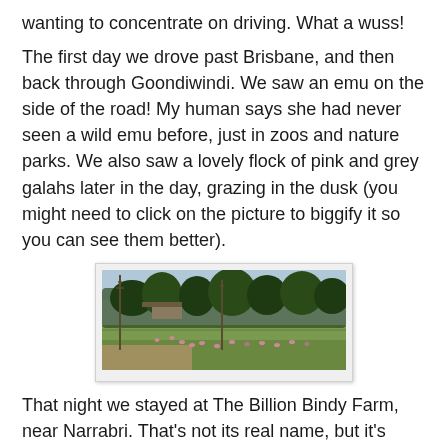wanting to concentrate on driving. What a wuss!
The first day we drove past Brisbane, and then back through Goondiwindi. We saw an emu on the side of the road! My human says she had never seen a wild emu before, just in zoos and nature parks. We also saw a lovely flock of pink and grey galahs later in the day, grazing in the dusk (you might need to click on the picture to biggify it so you can see them better).
[Figure (photo): A landscape photo showing a field with trees in the background and a flock of birds (galahs) grazing on the ground at dusk. There are telegraph poles visible and what appears to be a sports ground.]
That night we stayed at The Billion Bindy Farm, near Narrabri. That's not its real name, but it's what my human called it when we stopped later in the day and she had to spend 20 minutes pulling bindies out of my fur. And then she kept on finding them, even after we got home!